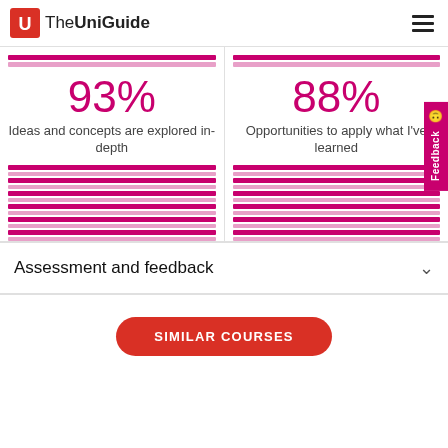[Figure (logo): TheUniGuide logo with red 'U' icon and text]
93%
Ideas and concepts are explored in-depth
88%
Opportunities to apply what I've learned
Assessment and feedback
SIMILAR COURSES